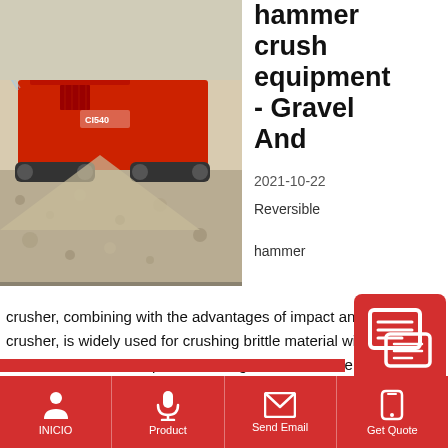[Figure (photo): Red mobile hammer crusher machine on gravel/aggregate site, tracked vehicle with conveyor]
hammer crush equipment - Gravel And
2021-10-22
Reversible hammer
crusher, combining with the advantages of impact and hammer crusher, is widely used for crushing brittle material with mid-hardness under 120Mpa, like coking coal, anthracite, the coal used for fluidized bed boiler in fire power company, gangue, gypsum, alums, and such like.::: Reversible Hammer Crusher is a new kind of
[Figure (illustration): Red chat/quote icon button in bottom right]
INICIO | Product | Send Email | Get Quote